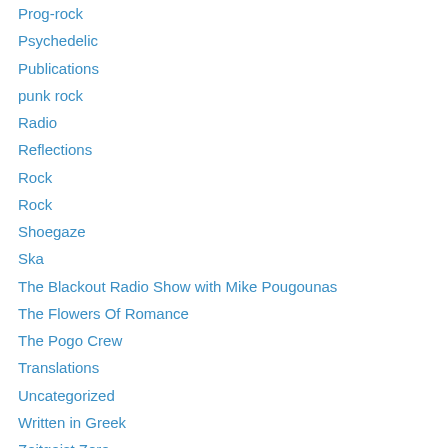Prog-rock
Psychedelic
Publications
punk rock
Radio
Reflections
Rock
Rock
Shoegaze
Ska
The Blackout Radio Show with Mike Pougounas
The Flowers Of Romance
The Pogo Crew
Translations
Uncategorized
Written in Greek
Zeitgeist Zero
tribe4mian search